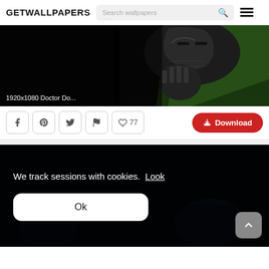GETWALLPAPERS
[Figure (screenshot): Doctor Doom comic art wallpaper, dark background with armored figure in green hood]
1920x1080 Doctor Do...
Social share buttons: Facebook, Pinterest, Twitter, Flag; Like count: 77
Download button
[Figure (screenshot): Dark wallpaper image (second), partially obscured by cookie consent overlay]
We track sessions with cookies. Look
Ok